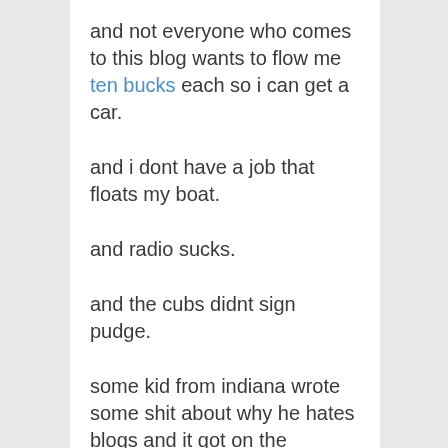and not everyone who comes to this blog wants to flow me ten bucks each so i can get a car.
and i dont have a job that floats my boat.
and radio sucks.
and the cubs didnt sign pudge.
some kid from indiana wrote some shit about why he hates blogs and it got on the internet. fuck him. go back to your state school and beat off in the bushes.
ashleys coming over tonight to drop off her key, pick up a pair of pajama bottoms, find a